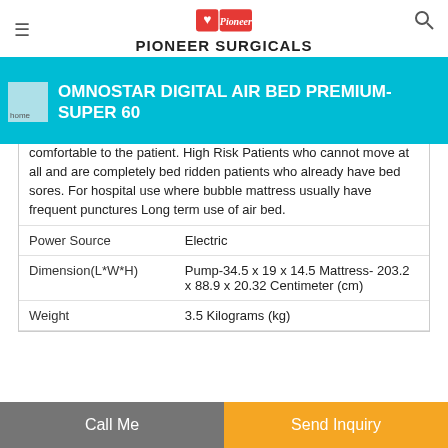PIONEER SURGICALS
OMNOSTAR DIGITAL AIR BED PREMIUM-SUPER 60
comfortable to the patient. High Risk Patients who cannot move at all and are completely bed ridden patients who already have bed sores. For hospital use where bubble mattress usually have frequent punctures Long term use of air bed.
| Property | Value |
| --- | --- |
| Power Source | Electric |
| Dimension(L*W*H) | Pump-34.5 x 19 x 14.5 Mattress- 203.2 x 88.9 x 20.32 Centimeter (cm) |
| Weight | 3.5 Kilograms (kg) |
Call Me
Send Inquiry